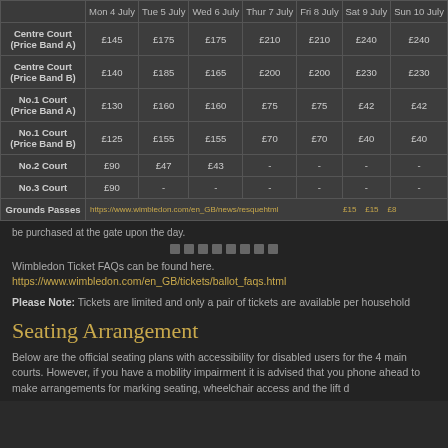|  | Mon 4 July | Tue 5 July | Wed 6 July | Thur 7 July | Fri 8 July | Sat 9 July | Sun 10 July |
| --- | --- | --- | --- | --- | --- | --- | --- |
| Centre Court (Price Band A) | £145 | £175 | £175 | £210 | £210 | £240 | £240 |
| Centre Court (Price Band B) | £140 | £185 | £165 | £200 | £200 | £230 | £230 |
| No.1 Court (Price Band A) | £130 | £160 | £160 | £75 | £75 | £42 | £42 |
| No.1 Court (Price Band B) | £125 | £155 | £155 | £70 | £70 | £40 | £40 |
| No.2 Court | £90 | £47 | £43 | - | - | - | - |
| No.3 Court | £90 | - | - | - | - | - | - |
| Grounds Passes | £27 | £20 | £20 | £20 | £15 | £15 | £8 |
be purchased at the gate upon the day.
Wimbledon Ticket FAQs can be found here
https://www.wimbledon.com/en_GB/tickets/ballot_faqs.html
Please Note: Tickets are limited and only a pair of tickets are available per household
Seating Arrangement
Below are the official seating plans with accessibility for disabled users for the 4 main courts. However, if you have a mobility impairment it is advised that you phone ahead to make arrangements for marking seating, wheelchair access and the lift d